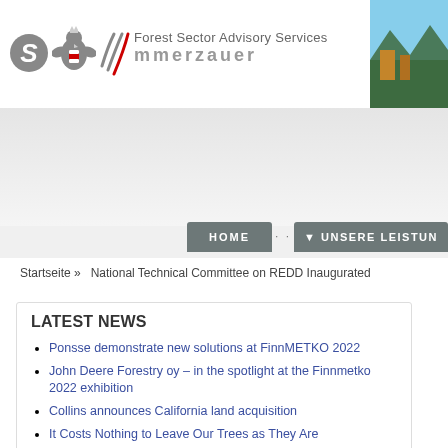[Figure (logo): Forest Sector Advisory Services website header with Austrian eagle logo, signal/wifi graphic, 'Forest Sector Advisory Services' text, company name partially visible as 'mmerzauer', and a landscape photo on the right]
[Figure (screenshot): Navigation bar with HOME button and UNSERE LEISTUN... (truncated) dropdown button in dark gray]
Startseite » National Technical Committee on REDD Inaugurated
LATEST NEWS
Ponsse demonstrate new solutions at FinnMETKO 2022
John Deere Forestry oy – in the spotlight at the Finnmetko 2022 exhibition
Collins announces California land acquisition
It Costs Nothing to Leave Our Trees as They Are
► Mehr ...